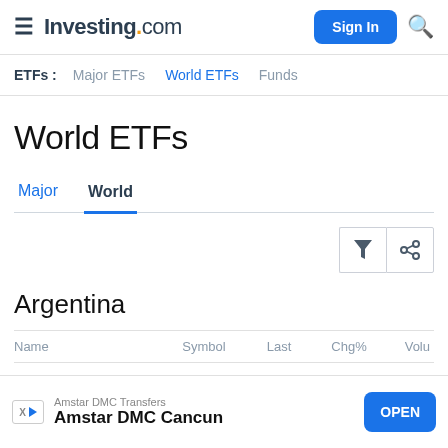Investing.com — Sign In
ETFs : Major ETFs  World ETFs  Funds
World ETFs
Major  World
Argentina
| Name | Symbol | Last | Chg% | Volu |
| --- | --- | --- | --- | --- |
[Figure (other): Advertisement banner for Amstar DMC Transfers — Amstar DMC Cancun with an OPEN button]